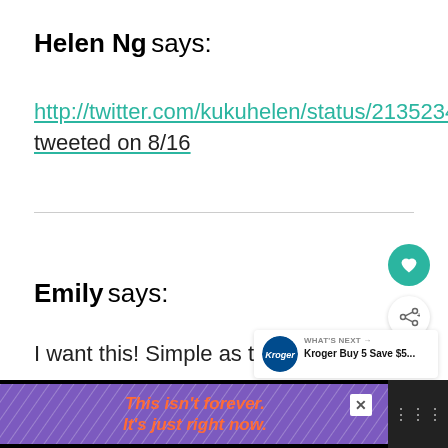Helen Ng says:
http://twitter.com/kukuhelen/status/21352349440 tweeted on 8/16
Emily says:
I want this! Simple as that!
[Figure (other): Purple advertisement banner at bottom: 'This isn't forever. It's just right now.' with close button and Kroger ad overlay]
[Figure (other): Teal circular heart/like button icon on right side]
[Figure (other): Share button icon on right side]
[Figure (other): What's Next Kroger Buy 5 Save $5... card]